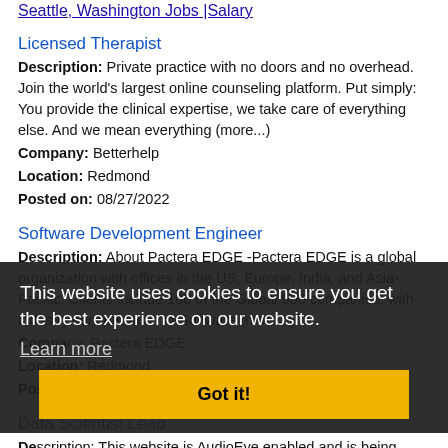Seattle, Washington Jobs |Salary
Licensed Therapist
Description: Private practice with no doors and no overhead. Join the world's largest online counseling platform. Put simply: You provide the clinical expertise, we take care of everything else. And we mean everything (more...)
Company: Betterhelp
Location: Redmond
Posted on: 08/27/2022
Software Development Engineer
Description: About Pactera EDGE -Pactera EDGE is a global organization with offices in the US, Europe, India, and Asia-Pacific. Clients include 100 of the Global 500 companies, with industry concentration in Software (more...)
Company: Pactera EDGE
Location: Redmond
Posted on: 08/27/2022
Data Scientist Lead
Description: This website is AudioEye enabled and is being optimized for accessibility. To open the AudioEye Toolbar, press shift . The toolbar contains the followingThe AudioEye Help Desk
This website uses cookies to ensure you get the best experience on our website. Learn more Got it!